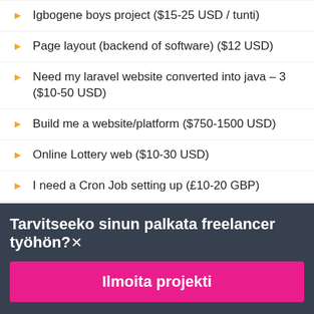Igbogene boys project ($15-25 USD / tunti)
Page layout (backend of software) ($12 USD)
Need my laravel website converted into java – 3 ($10-50 USD)
Build me a website/platform ($750-1500 USD)
Online Lottery web ($10-30 USD)
I need a Cron Job setting up (£10-20 GBP)
I need a logo for my eCommerce website ($50 CAD)
Laravel, GoDaddy, SMTP expert ($10-30 USD)
Loss Prevention Project ($1500-3000 CAD)
Tarvitseeko sinun palkata freelancer työhön?
Ilmoita projekti